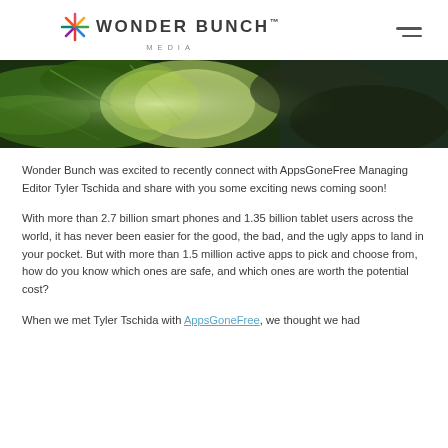WONDER BUNCH™ MEDIA
[Figure (photo): Close-up photo of green tropical leaves and foliage with a dark background, used as hero/banner image]
Wonder Bunch was excited to recently connect with AppsGoneFree Managing Editor Tyler Tschida and share with you some exciting news coming soon!
With more than 2.7 billion smart phones and 1.35 billion tablet users across the world, it has never been easier for the good, the bad, and the ugly apps to land in your pocket. But with more than 1.5 million active apps to pick and choose from, how do you know which ones are safe, and which ones are worth the potential cost?
When we met Tyler Tschida with AppsGoneFree, we thought we had